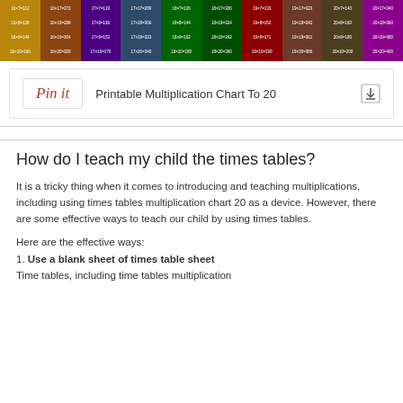[Figure (table-as-image): Colorful multiplication chart showing times tables up to 20, with columns in different colors (gold, brown, purple, dark blue, dark green, green, dark red, brown-red, olive, purple)]
Pin it  Printable Multiplication Chart To 20  [download icon]
How do I teach my child the times tables?
It is a tricky thing when it comes to introducing and teaching multiplications, including using times tables multiplication chart 20 as a device. However, there are some effective ways to teach our child by using times tables.
Here are the effective ways:
1. Use a blank sheet of times table sheet
Time tables, including time tables multiplication